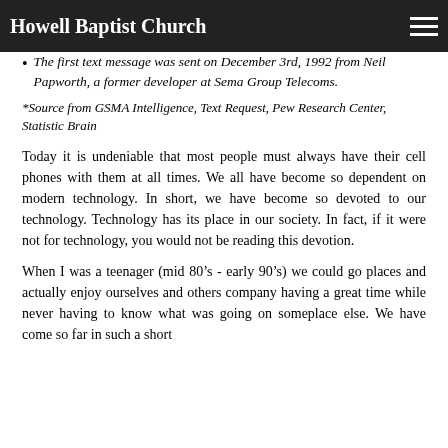Howell Baptist Church
The first text message was sent on December 3rd, 1992 from Neil Papworth, a former developer at Sema Group Telecoms.
*Source from GSMA Intelligence, Text Request, Pew Research Center, Statistic Brain
Today it is undeniable that most people must always have their cell phones with them at all times. We all have become so dependent on modern technology. In short, we have become so devoted to our technology. Technology has its place in our society. In fact, if it were not for technology, you would not be reading this devotion.
When I was a teenager (mid 80’s - early 90’s) we could go places and actually enjoy ourselves and others company having a great time while never having to know what was going on someplace else. We have come so far in such a short